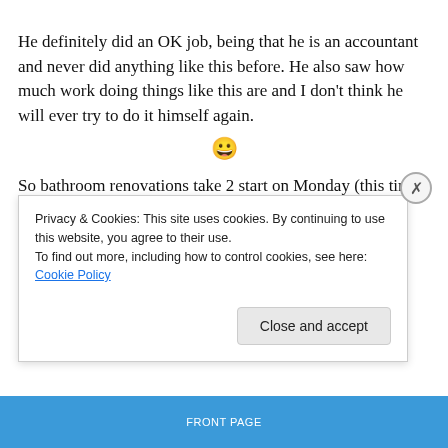He definitely did an OK job, being that he is an accountant and never did anything like this before. He also saw how much work doing things like this are and I don't think he will ever try to do it himself again. 😀
So bathroom renovations take 2 start on Monday (this time done by a professional). The guy is pretty much going to work with what Pat already did and just touch everything
Privacy & Cookies: This site uses cookies. By continuing to use this website, you agree to their use.
To find out more, including how to control cookies, see here: Cookie Policy
Close and accept